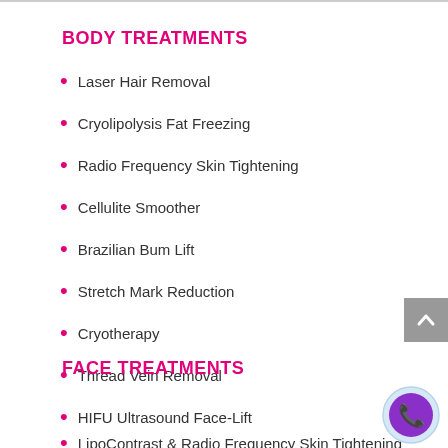BODY TREATMENTS
Laser Hair Removal
Cryolipolysis Fat Freezing
Radio Frequency Skin Tightening
Cellulite Smoother
Brazilian Bum Lift
Stretch Mark Reduction
Cryotherapy
Thread Vein Removal
FACE TREATMENTS
HIFU Ultrasound Face-Lift
LipoContrast & Radio Frequency Skin Tightening
[Figure (illustration): Phone call icon inside a light blue circle with purple background]